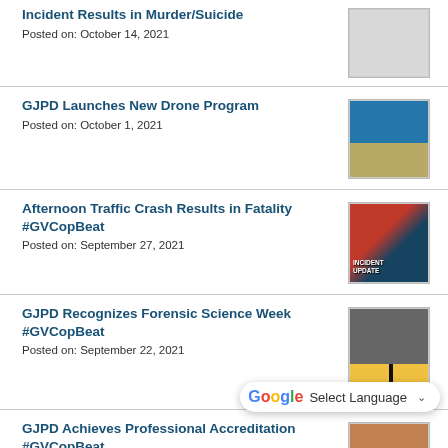Incident Results in Murder/Suicide
Posted on: October 14, 2021
GJPD Launches New Drone Program
Posted on: October 1, 2021
Afternoon Traffic Crash Results in Fatality #GVCopBeat
Posted on: September 27, 2021
GJPD Recognizes Forensic Science Week #GVCopBeat
Posted on: September 22, 2021
GJPD Achieves Professional Accreditation #GVCopBeat
Posted on: September 3, 2021
GJPD Introduces Newly Promoted Officers #GVCopBeat